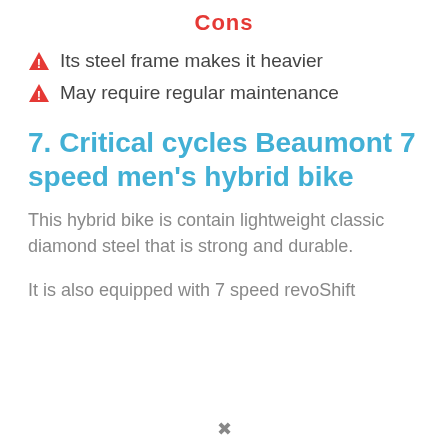Cons
Its steel frame makes it heavier
May require regular maintenance
7. Critical cycles Beaumont 7 speed men's hybrid bike
This hybrid bike is contain lightweight classic diamond steel that is strong and durable.
It is also equipped with 7 speed revoShift